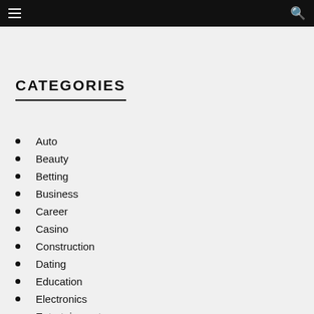Navigation bar with menu and search icons
CATEGORIES
Auto
Beauty
Betting
Business
Career
Casino
Construction
Dating
Education
Electronics
Entertainment
Environment